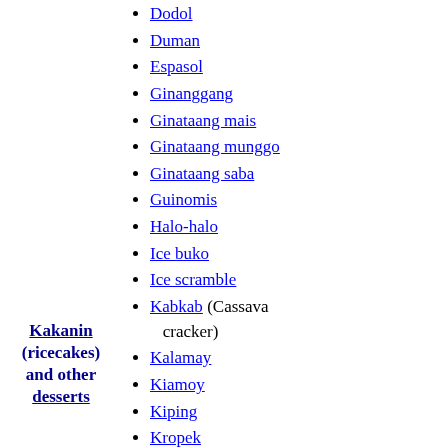Dodol
Duman
Espasol
Ginanggang
Ginataang mais
Ginataang munggo
Ginataang saba
Guinomis
Halo-halo
Ice buko
Ice scramble
Kabkab (Cassava cracker)
Kalamay
Kiamoy
Kiping
Kropek
Kutsinta
Lamaw
Leche flan
Lokot-lokot
Mache
Maíz con hielo
Maja blanca
Mango ice cream
Kakanin (ricecakes) and other desserts